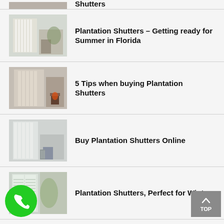Plantation Shutters – Getting ready for Summer in Florida
5 Tips when buying Plantation Shutters
Buy Plantation Shutters Online
Plantation Shutters, Perfect for Winter
Why are Plantation Shutters so popular in Florida Area?